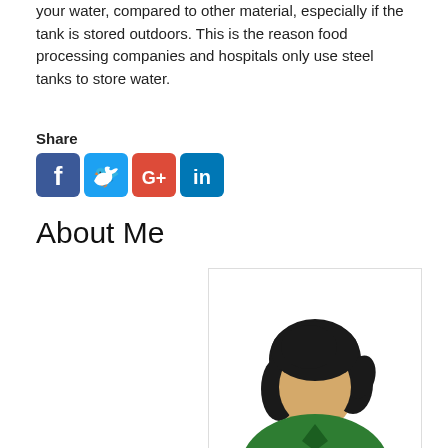your water, compared to other material, especially if the tank is stored outdoors. This is the reason food processing companies and hospitals only use steel tanks to store water.
Share
[Figure (illustration): Social media share icons: Facebook (blue), Twitter (blue), Google+ (red-orange), LinkedIn (dark blue)]
About Me
[Figure (illustration): Avatar illustration of a woman with dark short hair, wearing a green top, shown from shoulders up, on white background inside a bordered card]